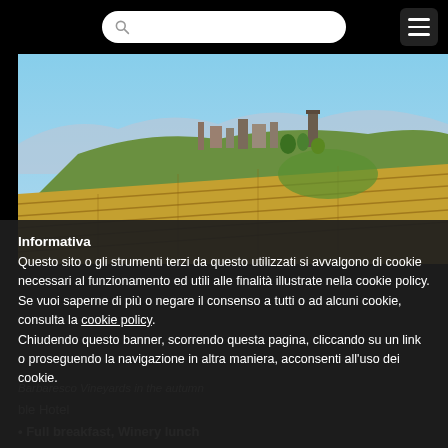[Figure (photo): Aerial view of Barbaresco vineyards in autumn with colorful rows of vines on rolling hills and a hilltop town in the background under a blue sky.]
Informativa
Questo sito o gli strumenti terzi da questo utilizzati si avvalgono di cookie necessari al funzionamento ed utili alle finalità illustrate nella cookie policy. Se vuoi saperne di più o negare il consenso a tutti o ad alcuni cookie, consulta la cookie policy. Chiudendo questo banner, scorrendo questa pagina, cliccando su un link o proseguendo la navigazione in altra maniera, acconsenti all'uso dei cookie.
Barbaresco Vineyards in the autumn
ble Hotel
Full breakfast, Winery lunch